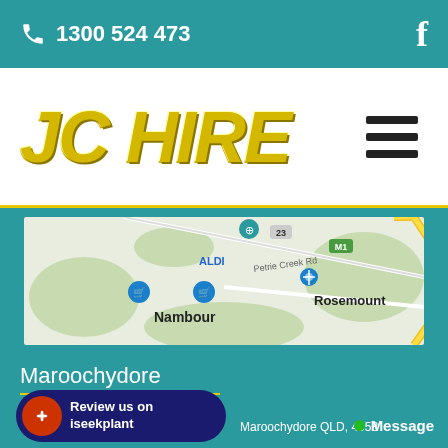📞 1300 524 473   f
[Figure (logo): JC HIRE company logo in gold/yellow italic bold text on white background]
[Figure (map): Google Maps view showing Nambour and Rosemount area in Queensland, Australia with Petrie Creek Rd visible, M1 highway, and location pins for ALDI and other stores]
Maroochydore
Review us on iseekplant
Maroochydore QLD, 4558
Message